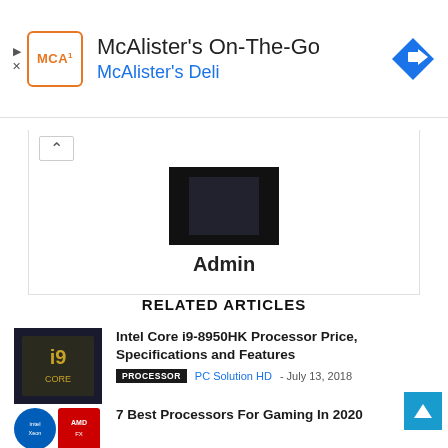[Figure (screenshot): McAlister's On-The-Go advertisement banner with logo, title, subtitle 'McAlister's Deli', and navigation arrow icon]
[Figure (photo): Dark profile image thumbnail and Admin username text]
RELATED ARTICLES
[Figure (photo): Intel Core i9 processor box image thumbnail]
Intel Core i9-8950HK Processor Price, Specifications and Features
PROCESSOR  PC Solution HD - July 13, 2018
[Figure (photo): Intel Xeon and AMD FX processor logos/images]
7 Best Processors For Gaming In 2020